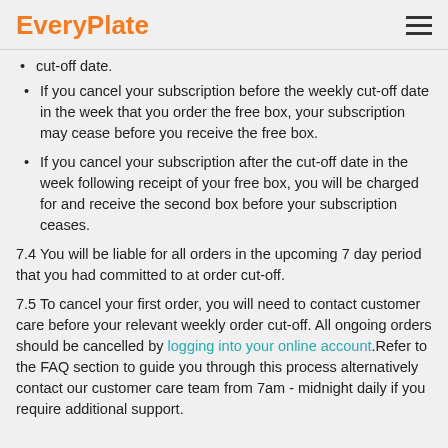EveryPlate
cut-off date.
If you cancel your subscription before the weekly cut-off date in the week that you order the free box, your subscription may cease before you receive the free box.
If you cancel your subscription after the cut-off date in the week following receipt of your free box, you will be charged for and receive the second box before your subscription ceases.
7.4 You will be liable for all orders in the upcoming 7 day period that you had committed to at order cut-off.
7.5 To cancel your first order, you will need to contact customer care before your relevant weekly order cut-off. All ongoing orders should be cancelled by logging into your online account.Refer to the FAQ section to guide you through this process alternatively contact our customer care team from 7am - midnight daily if you require additional support.